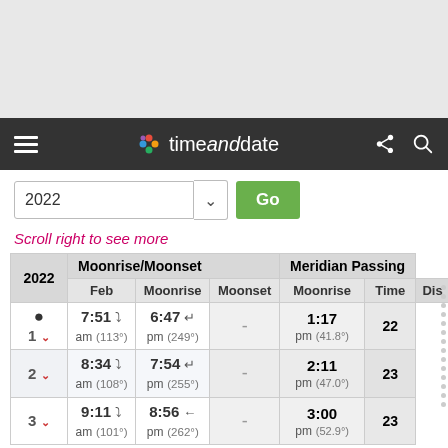[Figure (screenshot): Top gray header area of a web page]
timeanddate (navigation bar with hamburger menu, logo, share and search icons)
2022 [year input with dropdown and Go button]
Scroll right to see more
| 2022 | Moonrise/Moonset (Feb, Moonrise, Moonset, Moonrise) | Meridian Passing (Time, Dis) |
| --- | --- | --- |
| ● 1 | 7:51 am (113°) → | 6:47 pm (249°) ← | - | 1:17 pm (41.8°) | 22 |
| 2 | 8:34 am (108°) → | 7:54 pm (255°) ← | - | 2:11 pm (47.0°) | 23 |
| 3 | 9:11 am (101°) → | 8:56 pm (262°) ← | - | 3:00 pm (52.9°) | 23 |